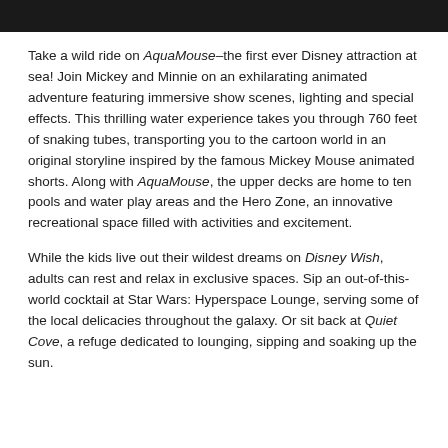[Figure (photo): Dark/black header bar at top of page]
Take a wild ride on AquaMouse–the first ever Disney attraction at sea! Join Mickey and Minnie on an exhilarating animated adventure featuring immersive show scenes, lighting and special effects. This thrilling water experience takes you through 760 feet of snaking tubes, transporting you to the cartoon world in an original storyline inspired by the famous Mickey Mouse animated shorts. Along with AquaMouse, the upper decks are home to ten pools and water play areas and the Hero Zone, an innovative recreational space filled with activities and excitement.
While the kids live out their wildest dreams on Disney Wish, adults can rest and relax in exclusive spaces. Sip an out-of-this-world cocktail at Star Wars: Hyperspace Lounge, serving some of the local delicacies throughout the galaxy. Or sit back at Quiet Cove, a refuge dedicated to lounging, sipping and soaking up the sun.